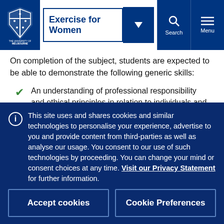Exercise for Women — University of Melbourne navigation bar with search and menu
On completion of the subject, students are expected to be able to demonstrate the following generic skills:
An understanding of professional responsibility and ethical principles in relation to individuals and the community, both locally
This site uses and shares cookies and similar technologies to personalise your experience, advertise to you and provide content from third-parties as well as analyse our usage. You consent to our use of such technologies by proceeding. You can change your mind or consent choices at any time. Visit our Privacy Statement for further information.
Accept cookies
Cookie Preferences